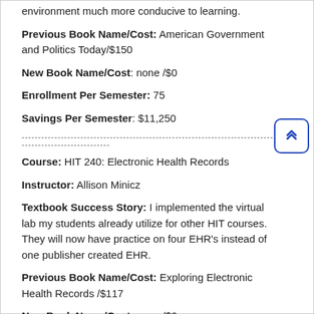environment much more conducive to learning.
Previous Book Name/Cost: American Government and Politics Today/$150
New Book Name/Cost: none /$0
Enrollment Per Semester: 75
Savings Per Semester: $11,250
---------------------------------------------------------------------------------------------------
Course: HIT 240: Electronic Health Records
Instructor: Allison Minicz
Textbook Success Story: I implemented the virtual lab my students already utilize for other HIT courses. They will now have practice on four EHR's instead of one publisher created EHR.
Previous Book Name/Cost: Exploring Electronic Health Records /$117
New Book Name/Cost: none /$0
Enrollment Per Semester: 15
Savings Per Semester: $1,755